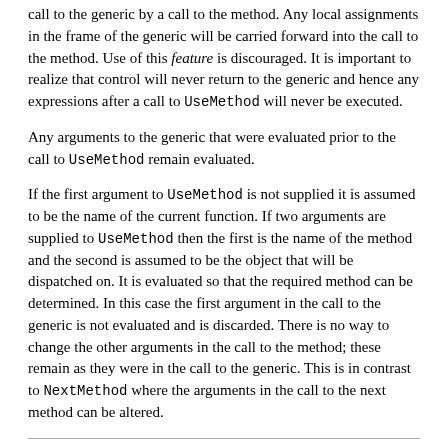call to the generic by a call to the method. Any local assignments in the frame of the generic will be carried forward into the call to the method. Use of this feature is discouraged. It is important to realize that control will never return to the generic and hence any expressions after a call to UseMethod will never be executed.
Any arguments to the generic that were evaluated prior to the call to UseMethod remain evaluated.
If the first argument to UseMethod is not supplied it is assumed to be the name of the current function. If two arguments are supplied to UseMethod then the first is the name of the method and the second is assumed to be the object that will be dispatched on. It is evaluated so that the required method can be determined. In this case the first argument in the call to the generic is not evaluated and is discarded. There is no way to change the other arguments in the call to the method; these remain as they were in the call to the generic. This is in contrast to NextMethod where the arguments in the call to the next method can be altered.
Next: Group methods, Previous: UseMethod, Up: Object-oriented programming [Contents][Index]
5.5 NextMethod